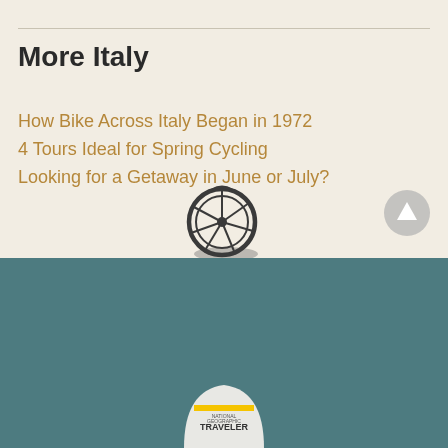More Italy
How Bike Across Italy Began in 1972
4 Tours Ideal for Spring Cycling
Looking for a Getaway in June or July?
[Figure (illustration): Bicycle wheel icon with spokes and shadow]
[Figure (illustration): Gray circular up-arrow navigation button]
Awards, Memberships and Reviews
[Figure (logo): National Geographic Traveler badge/logo at bottom]